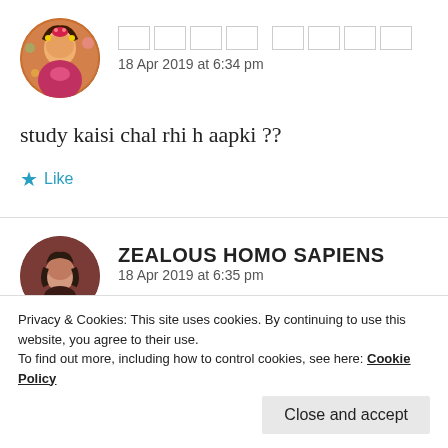[Figure (photo): Circular avatar of a woman in traditional Indian attire with floral decorations]
□□□□ □□□□
18 Apr 2019 at 6:34 pm
study kaisi chal rhi h aapki ??
★ Like
[Figure (photo): Circular avatar of a person with dark hair against brown background]
ZEALOUS HOMO SAPIENS
18 Apr 2019 at 6:35 pm
Privacy & Cookies: This site uses cookies. By continuing to use this website, you agree to their use.
To find out more, including how to control cookies, see here: Cookie Policy
Close and accept